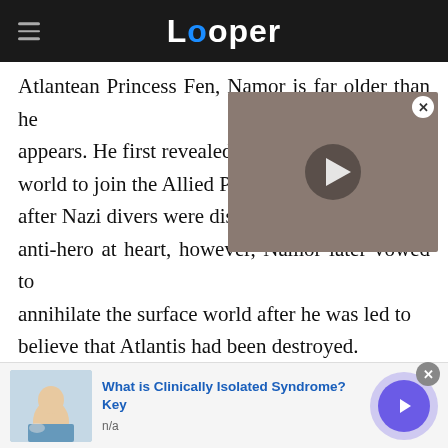Looper
Atlantean Princess Fen, Namor is far older than he appears. He first revealed h[imself to the surface] world to join the Allied Pow[ers in World War II] after Nazi divers were disco[vered in Atlantis]. An anti-hero at heart, however, Namor later vowed to annihilate the surface world after he was led to believe that Atlantis had been destroyed.
[Figure (screenshot): Video thumbnail showing a man with long curly hair, play button overlay]
In this capacity, Namor fought both the Avengers and the X-Men as one of the earliest villains faced
[Figure (infographic): Advertisement bar: What is Clinically Isolated Syndrome? Key, n/a, with doctor image and navigation arrow button]